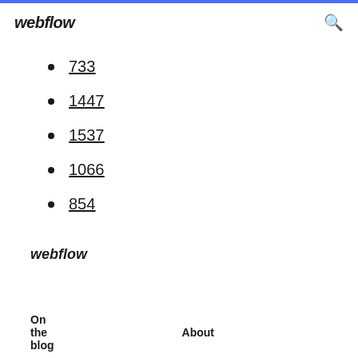webflow
733
1447
1537
1066
854
webflow
On the blog  About